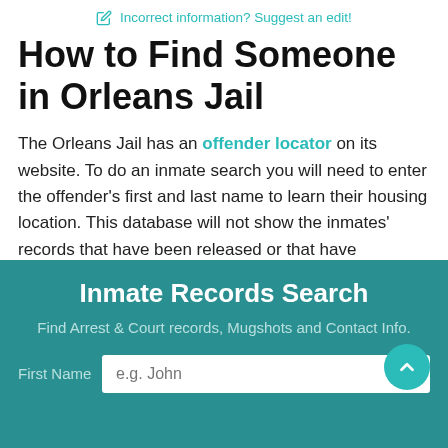✏ Incorrect information? Suggest an edit!
How to Find Someone in Orleans Jail
The Orleans Jail has an offender locator on its website. To do an inmate search you will need to enter the offender's first and last name to learn their housing location. This database will not show the inmates' records that have been released or that have escaped.
[Figure (screenshot): Inmate Records Search widget with teal background. Title: 'Inmate Records Search'. Subtitle: 'Find Arrest & Court records, Mugshots and Contact Info.' First Name input field with placeholder 'e.g. John'. Teal circular arrow-up button on the right.]